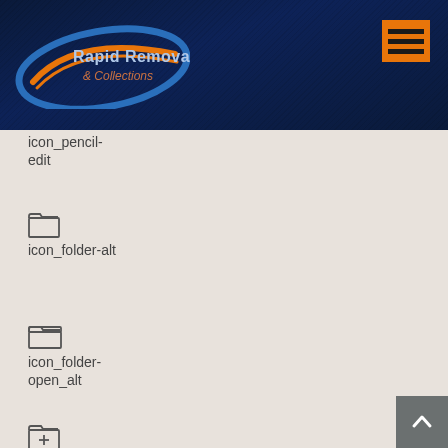[Figure (logo): Rapid Removals & Collections logo — blue oval with orange swoosh, white text]
[Figure (other): Orange hamburger menu icon (three horizontal bars)]
icon_pencil-edit
icon_folder-alt
icon_folder-open_alt
icon_folder-
[Figure (other): Back to top arrow button (grey square with upward chevron)]